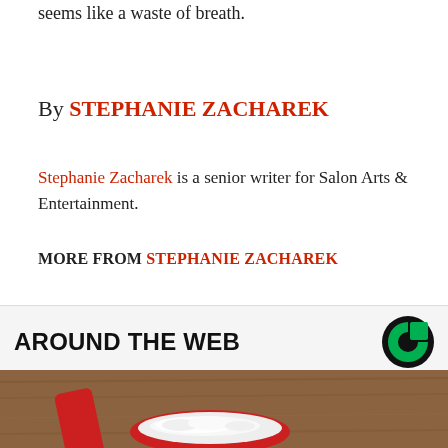seems like a waste of breath.
By STEPHANIE ZACHAREK
Stephanie Zacharek is a senior writer for Salon Arts & Entertainment.
MORE FROM STEPHANIE ZACHAREK
AROUND THE WEB
[Figure (photo): Close-up photograph of a red spoon or scoop filled with white powder, resting on a wooden surface.]